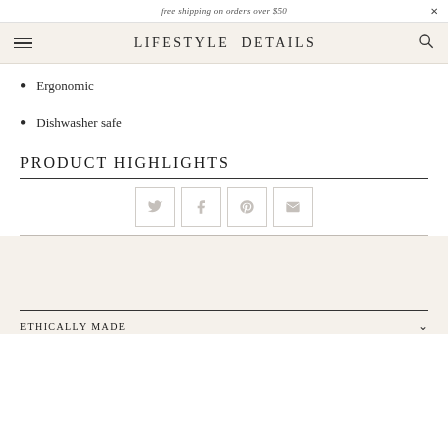free shipping on orders over $50
LIFESTYLE DETAILS
Ergonomic
Dishwasher safe
PRODUCT HIGHLIGHTS
[Figure (other): Social sharing icons: Twitter, Facebook, Pinterest, Email]
ETHICALLY MADE